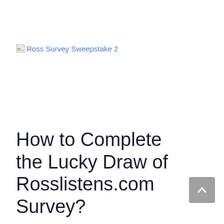[Figure (other): Broken image placeholder with alt text 'Ross Survey Sweepstake 2' shown as a browser broken-image icon followed by blue link text]
How to Complete the Lucky Draw of Rosslistens.com Survey?